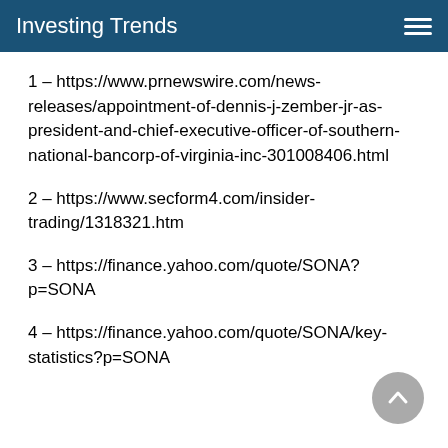Investing Trends
1 – https://www.prnewswire.com/news-releases/appointment-of-dennis-j-zember-jr-as-president-and-chief-executive-officer-of-southern-national-bancorp-of-virginia-inc-301008406.html
2 – https://www.secform4.com/insider-trading/1318321.htm
3 – https://finance.yahoo.com/quote/SONA?p=SONA
4 – https://finance.yahoo.com/quote/SONA/key-statistics?p=SONA